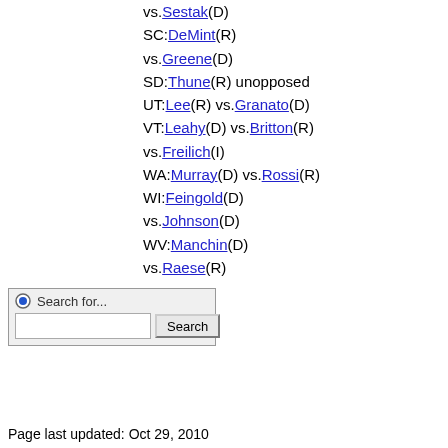vs.Sestak(D)
SC:DeMint(R) vs.Greene(D)
SD:Thune(R) unopposed
UT:Lee(R) vs.Granato(D)
VT:Leahy(D) vs.Britton(R) vs.Freilich(I)
WA:Murray(D) vs.Rossi(R)
WI:Feingold(D) vs.Johnson(D)
WV:Manchin(D) vs.Raese(R)
[Figure (screenshot): Search widget with radio button, label 'Search for...', text input field, and Search button]
Page last updated: Oct 29, 2010